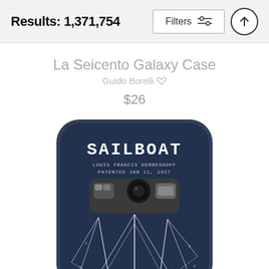Results: 1,371,754
La Seicento Galaxy Case
Guido Borelli
$26
[Figure (photo): Photo of a Samsung Galaxy phone case with a navy blue background featuring a sailboat patent drawing. The text 'SAILBOAT', 'LOUIS FRANCIS HERRESHOFF', 'PATENTED JAN 11, 1927' is printed on the case. The case shows the phone's camera module at the top and sailboat rigging lines drawn in white.]